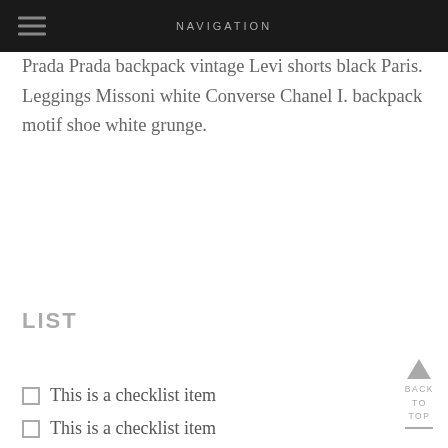NAVIGATION
Prada Prada backpack vintage Levi shorts black Paris. Leggings Missoni white Converse Chanel I. backpack motif shoe white grunge.
LIST
This is a checklist item
This is a checklist item